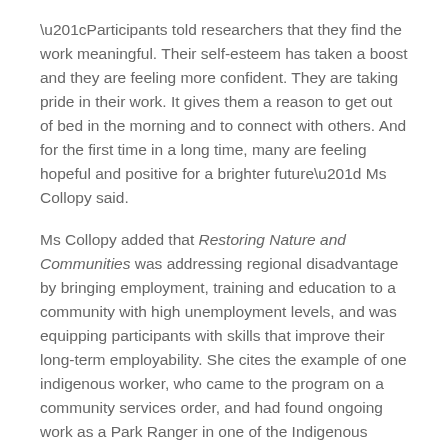“Participants told researchers that they find the work meaningful. Their self-esteem has taken a boost and they are feeling more confident. They are taking pride in their work. It gives them a reason to get out of bed in the morning and to connect with others. And for the first time in a long time, many are feeling hopeful and positive for a brighter future” Ms Collopy said.
Ms Collopy added that Restoring Nature and Communities was addressing regional disadvantage by bringing employment, training and education to a community with high unemployment levels, and was equipping participants with skills that improve their long-term employability. She cites the example of one indigenous worker, who came to the program on a community services order, and had found ongoing work as a Park Ranger in one of the Indigenous Protected Areas in far north Queensland.
This program, like many others funded by Highways